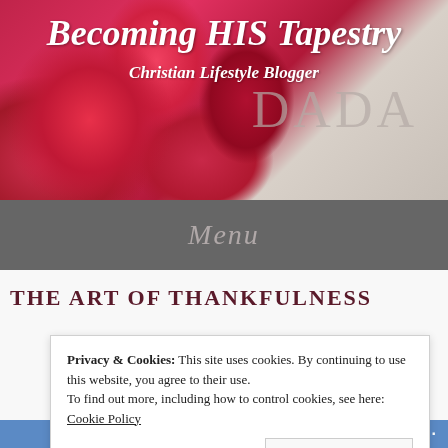Becoming HIS Tapestry
Christian Lifestyle Blogger
Menu
THE ART OF THANKFULNESS
Privacy & Cookies: This site uses cookies. By continuing to use this website, you agree to their use.
To find out more, including how to control cookies, see here: Cookie Policy
Close and accept
Follow